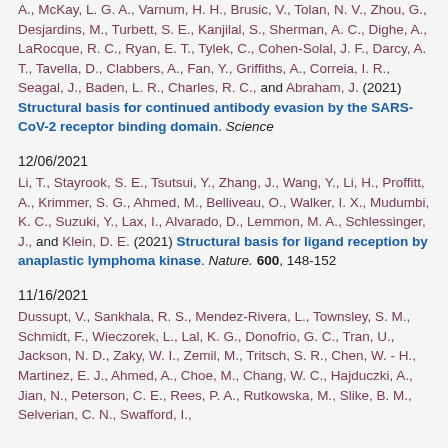A., McKay, L. G. A., Varnum, H. H., Brusic, V., Tolan, N. V., Zhou, G., Desjardins, M., Turbett, S. E., Kanjilal, S., Sherman, A. C., Dighe, A., LaRocque, R. C., Ryan, E. T., Tylek, C., Cohen-Solal, J. F., Darcy, A. T., Tavella, D., Clabbers, A., Fan, Y., Griffiths, A., Correia, I. R., Seagal, J., Baden, L. R., Charles, R. C., and Abraham, J. (2021) Structural basis for continued antibody evasion by the SARS-CoV-2 receptor binding domain. Science
12/06/2021
Li, T., Stayrook, S. E., Tsutsui, Y., Zhang, J., Wang, Y., Li, H., Proffitt, A., Krimmer, S. G., Ahmed, M., Belliveau, O., Walker, I. X., Mudumbi, K. C., Suzuki, Y., Lax, I., Alvarado, D., Lemmon, M. A., Schlessinger, J., and Klein, D. E. (2021) Structural basis for ligand reception by anaplastic lymphoma kinase. Nature. 600, 148-152
11/16/2021
Dussupt, V., Sankhala, R. S., Mendez-Rivera, L., Townsley, S. M., Schmidt, F., Wieczorek, L., Lal, K. G., Donofrio, G. C., Tran, U., Jackson, N. D., Zaky, W. I., Zemil, M., Tritsch, S. R., Chen, W. - H., Martinez, E. J., Ahmed, A., Choe, M., Chang, W. C., Hajduczki, A., Jian, N., Peterson, C. E., Rees, P. A., Rutkowska, M., Slike, B. M., Selverian, C. N., Swafford, I.,